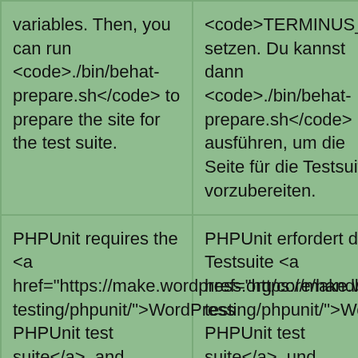| English | German |  |
| --- | --- | --- |
| variables. Then, you can run <code>./bin/behat-prepare.sh</code> to prepare the site for the test suite. | <code>TERMINUS_ENV</code> setzen. Du kannst dann <code>./bin/behat-prepare.sh</code> ausführen, um die Seite für die Testsuite vorzubereiten. |  |
| PHPUnit requires the <a href="https://make.wordpress.org/core/handbook/testing/automated-testing/phpunit/">WordPress PHPUnit test suite</a>, and | PHPUnit erfordert die Testsuite <a href="https://make.wordpress.org/core/handbook/testing/automated-testing/phpunit/">WordPress PHPUnit test suite</a>, und | Details |